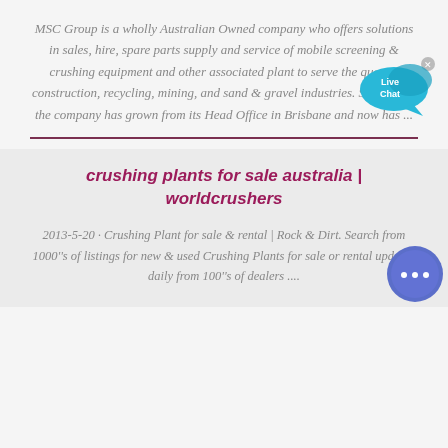MSC Group is a wholly Australian Owned company who offers solutions in sales, hire, spare parts supply and service of mobile screening & crushing equipment and other associated plant to serve the quarry, construction, recycling, mining, and sand & gravel industries. Since 1986 the company has grown from its Head Office in Brisbane and now has ...
[Figure (other): Live Chat speech bubble widget icon in cyan/blue color with 'Live Chat' text and a close (x) button]
crushing plants for sale australia | worldcrushers
2013-5-20 · Crushing Plant for sale & rental | Rock & Dirt. Search from 1000''s of listings for new & used Crushing Plants for sale or rental updated daily from 100''s of dealers ....
[Figure (other): Round blue chat bubble button with ellipsis (…) icon]